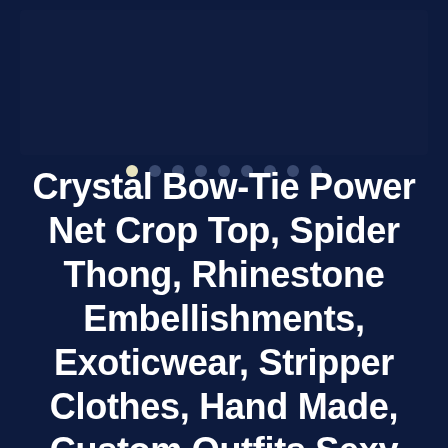[Figure (photo): Dark navy blue image placeholder area at the top of the page]
[Figure (other): Carousel dot navigation indicators with 8 dots, the first one highlighted in cream/yellow]
Crystal Bow-Tie Power Net Crop Top, Spider Thong, Rhinestone Embellishments, Exoticwear, Stripper Clothes, Hand Made, Custom Outfits Sexy